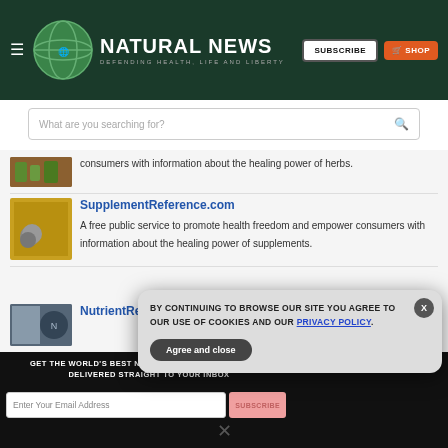NATURAL NEWS — DEFENDING HEALTH, LIFE AND LIBERTY
What are you searching for?
consumers with information about the healing power of herbs.
SupplementReference.com — A free public service to promote health freedom and empower consumers with information about the healing power of supplements.
NutrientReference.com
GET THE WORLD'S BEST NATURAL HEALTH NEWSLETTER DELIVERED STRAIGHT TO YOUR INBOX
BY CONTINUING TO BROWSE OUR SITE YOU AGREE TO OUR USE OF COOKIES AND OUR PRIVACY POLICY.
Agree and close
Enter Your Email Address
SUBSCRIBE